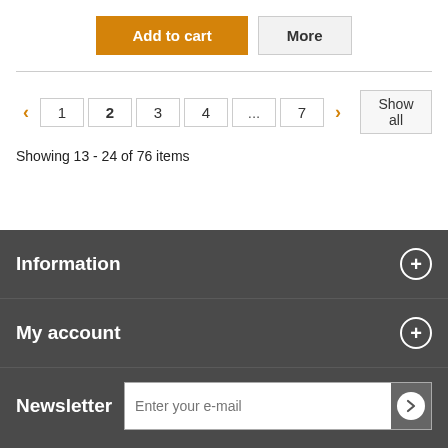Add to cart | More
Showing 13 - 24 of 76 items
Information
My account
Newsletter